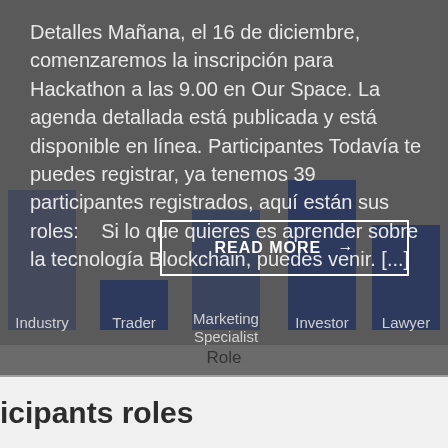Detalles Mañana, el 16 de diciembre, comenzaremos la inscripción para Hackathon a las 9.00 en Our Space. La agenda detallada está publicada y está disponible en línea. Participantes Todavía te puedes registrar, ya tenemos 39 participantes registrados, aquí están sus roles:    Si lo que quieres es aprender sobre la tecnología Blockchain, puedes venir. [...]
[Figure (bar-chart): Participants roles]
icipants roles